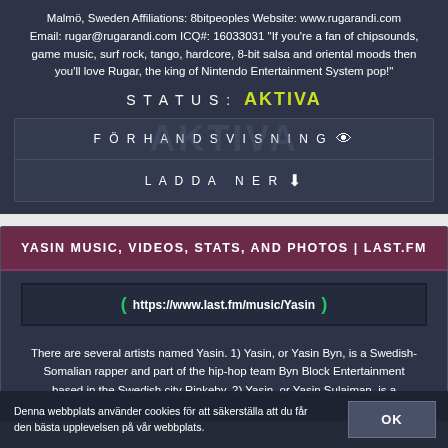Malmö, Sweden Affiliations: 8bitpeoples Website: www.rugarandi.com Email: rugar@rugarandi.com ICQ#: 16033031 "If you're a fan of chipsounds, game music, surf rock, tango, hardcore, 8-bit salsa and oriental moods then you'll love Rugar, the king of Nintendo Entertainment System pop!"
STATUS: AKTIVA
FÖRHANDSVISNING 👁
LADDA NER ⬇
YASIN MUSIC, VIDEOS, STATS, AND PHOTOS | LAST.FM
https://www.last.fm/music/Yasin
There are several artists named Yasin. 1) Yasin, or Yasin Byn, is a Swedish-Somalian rapper and part of the hip-hop team Byn Block Entertainment based in the Swedish city Rinkeby. 2) Yasin, or Yasin Sulaiman, is a
Denna webbplats använder cookies för att säkerställa att du får den bästa upplevelsen på vår webbplats.